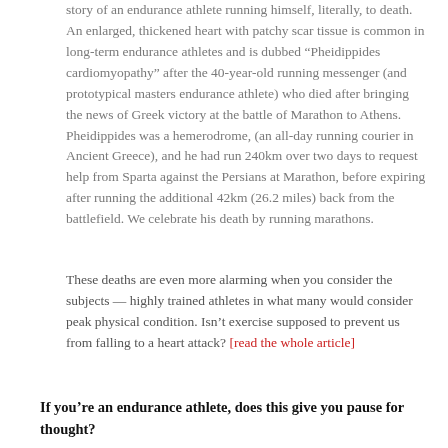story of an endurance athlete running himself, literally, to death. An enlarged, thickened heart with patchy scar tissue is common in long-term endurance athletes and is dubbed “Pheidippides cardiomyopathy” after the 40-year-old running messenger (and prototypical masters endurance athlete) who died after bringing the news of Greek victory at the battle of Marathon to Athens. Pheidippides was a hemerodrome, (an all-day running courier in Ancient Greece), and he had run 240km over two days to request help from Sparta against the Persians at Marathon, before expiring after running the additional 42km (26.2 miles) back from the battlefield. We celebrate his death by running marathons.
These deaths are even more alarming when you consider the subjects — highly trained athletes in what many would consider peak physical condition. Isn’t exercise supposed to prevent us from falling to a heart attack? [read the whole article]
If you’re an endurance athlete, does this give you pause for thought?